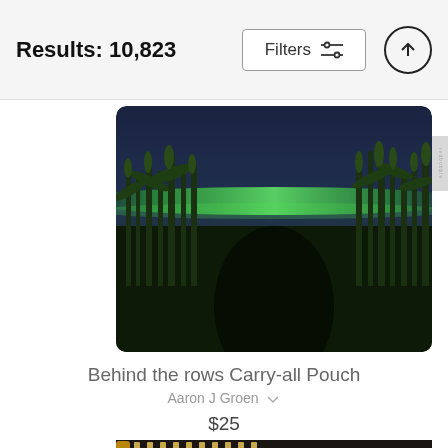Results: 10,823
[Figure (photo): Carry-all pouch product image showing a cornfield at night with green aurora borealis in the sky]
Behind the rows Carry-all Pouch
Aaron J Groen
$25
[Figure (photo): Partial view of a second product (carry-all pouch with zipper) at the bottom of the page]